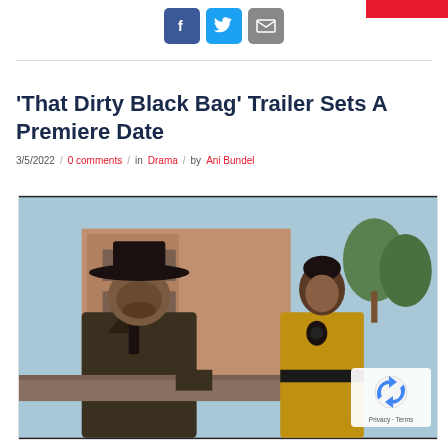[Figure (logo): Red banner top right corner]
[Figure (infographic): Social share icons: Facebook (blue), Twitter (light blue), Email (grey)]
'That Dirty Black Bag' Trailer Sets A Premiere Date
3/5/2022 / 0 comments / in Drama / by Ani Bundel
[Figure (photo): Still from 'That Dirty Black Bag' showing a man in a cowboy hat and a woman in a gold outfit on a western set balcony]